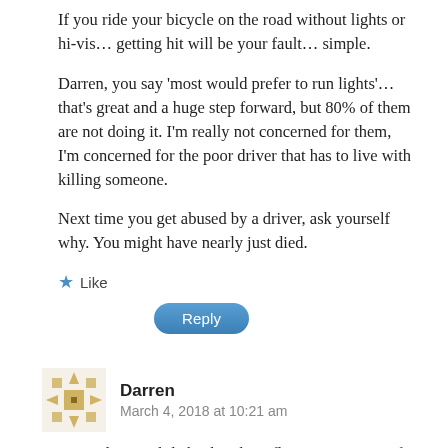If you ride your bicycle on the road without lights or hi-vis… getting hit will be your fault… simple.
Darren, you say 'most would prefer to run lights'… that's great and a huge step forward, but 80% of them are not doing it. I'm really not concerned for them, I'm concerned for the poor driver that has to live with killing someone.
Next time you get abused by a driver, ask yourself why. You might have nearly just died.
★ Like
Reply
Darren
March 4, 2018 at 10:21 am
I was reading a while back – the reflective strip part of hi-viz only works when a light is shined on it – ie headlight at night when lights are more effective anyway. The Fluro part of the hi-viz I don't think is light activated – it's just very brightly coloured like lots of cycling kit/clothing. Maybe a distinction...